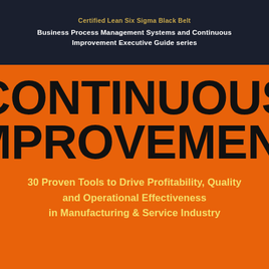Certified Lean Six Sigma Black Belt
Business Process Management Systems and Continuous Improvement Executive Guide series
CONTINUOUS IMPROVEMENT
30 Proven Tools to Drive Profitability, Quality and Operational Effectiveness in Manufacturing & Service Industry